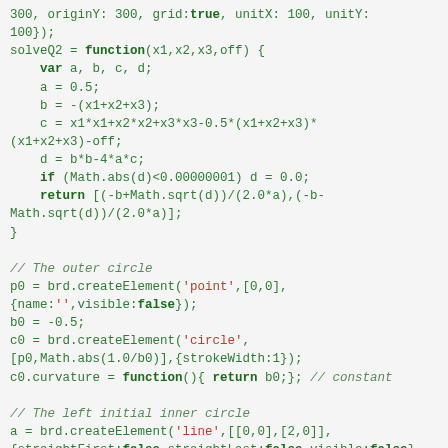Code snippet showing JavaScript functions for solveQ2, outer circle, left initial inner circle, and right initial inner circle using JSXGraph board element creation.